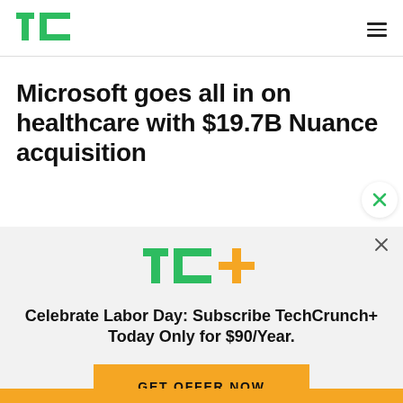TechCrunch logo and navigation
Microsoft goes all in on healthcare with $19.7B Nuance acquisition
[Figure (logo): TechCrunch+ logo with green TC and orange plus sign]
Celebrate Labor Day: Subscribe TechCrunch+ Today Only for $90/Year.
GET OFFER NOW